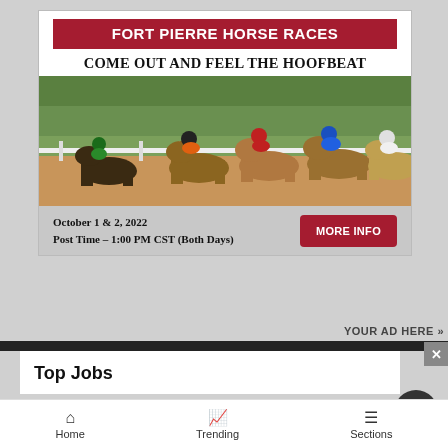[Figure (infographic): Fort Pierre Horse Races advertisement banner with red title bar, tagline 'Come Out and Feel the Hoofbeat', photo of horse race with jockeys, date info October 1 & 2 2022, Post Time 1:00 PM CST, and More Info button]
YOUR AD HERE »
Top Jobs
[Figure (infographic): Fall River Feedyard LLC advertisement with cow logo, text 'Your Beef is Our Business!', location Hot Springs SD 605.745.4109, orange MORE INFO button]
Home  Trending  Sections